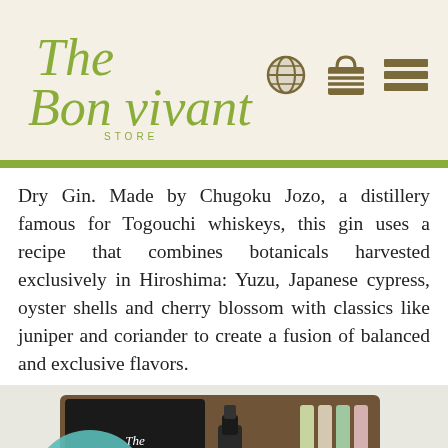[Figure (logo): The Bon Vivant Store logo with script text in olive green and 'STORE' in small caps, plus navigation icons (globe, bag, menu) on the right side of the header bar]
Dry Gin. Made by Chugoku Jozo, a distillery famous for Togouchi whiskeys, this gin uses a recipe that combines botanicals harvested exclusively in Hiroshima: Yuzu, Japanese cypress, oyster shells and cherry blossom with classics like juniper and coriander to create a fusion of balanced and exclusive flavors.
[Figure (photo): A product photo showing a Bon Vivant branded gift box/briefcase opened to reveal various gourmet items including a 'Pop it Gourmet Popcorn' teal package, green popcorn, a cocktail book, a bottle, colorful packages, and cylindrical items arranged in a flat lay composition.]